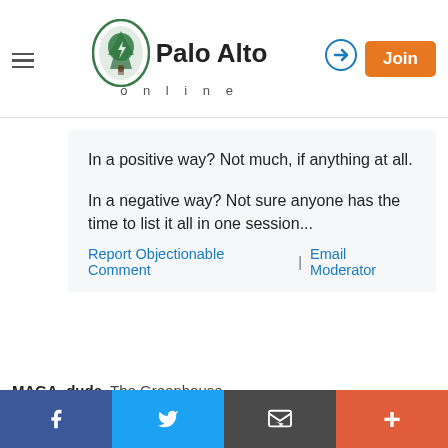Palo Alto online
In a positive way? Not much, if anything at all.

In a negative way? Not sure anyone has the time to list it all in one session...
Report Objectionable Comment | Email Moderator
MAGA, dude, The Greenhouse
on Aug 3, 2018 at 2:55 pm
Poor Trumpettes. They now have to spin all the things that White House administration, Trump-appointed, Trump supporters are saying about Donny, once they leave the administration.